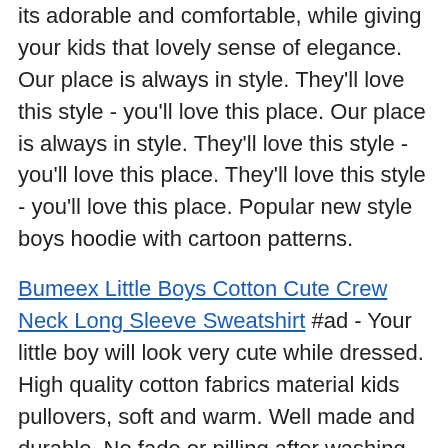its adorable and comfortable, while giving your kids that lovely sense of elegance. Our place is always in style. They'll love this style - you'll love this place. Our place is always in style. They'll love this style - you'll love this place. They'll love this style - you'll love this place. Popular new style boys hoodie with cartoon patterns.
Bumeex Little Boys Cotton Cute Crew Neck Long Sleeve Sweatshirt #ad - Your little boy will look very cute while dressed. High quality cotton fabrics material kids pullovers, soft and warm. Well made and durable. No fade or pilling after washing. Crew neck long sleeve sweater for boys, good elastic knit ribbed hem, easy to fit different style of outfit and shirt, easy to wear on and take off.